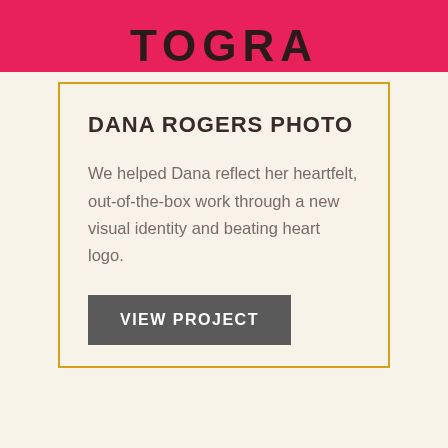TOGRA
DANA ROGERS PHOTO
We helped Dana reflect her heartfelt, out-of-the-box work through a new visual identity and beating heart logo.
VIEW PROJECT